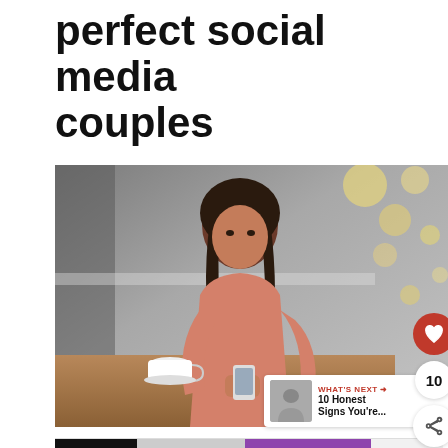perfect social media couples
[Figure (photo): Woman sitting at a cafe table looking at her smartphone, with a coffee cup nearby and bokeh lights in the background. Social interaction buttons (heart/like, count 10, share) overlaid on the right side.]
WHAT'S NEXT → 10 Honest Signs You're...
[Figure (infographic): Advertisement banner reading 'We stand with you.' with black, gray, purple sections and a close button, plus a logo mark on the right.]